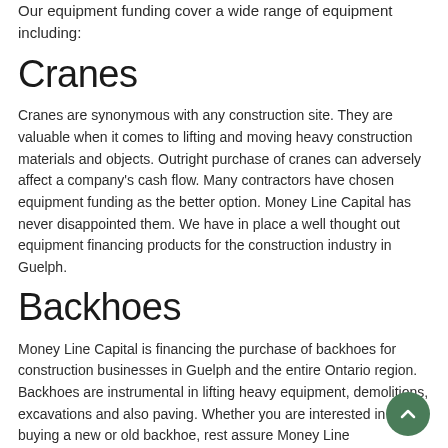Our equipment funding cover a wide range of equipment including:
Cranes
Cranes are synonymous with any construction site. They are valuable when it comes to lifting and moving heavy construction materials and objects. Outright purchase of cranes can adversely affect a company's cash flow. Many contractors have chosen equipment funding as the better option. Money Line Capital has never disappointed them. We have in place a well thought out equipment financing products for the construction industry in Guelph.
Backhoes
Money Line Capital is financing the purchase of backhoes for construction businesses in Guelph and the entire Ontario region. Backhoes are instrumental in lifting heavy equipment, demolitions, excavations and also paving. Whether you are interested in buying a new or old backhoe, rest assure Money Line